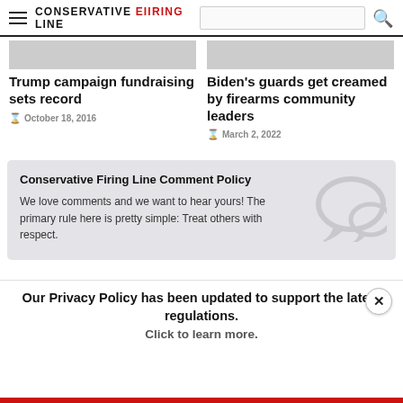CONSERVATIVE FIRING LINE
Trump campaign fundraising sets record
October 18, 2016
Biden's guards get creamed by firearms community leaders
March 2, 2022
Conservative Firing Line Comment Policy
We love comments and we want to hear yours! The primary rule here is pretty simple: Treat others with respect.
Our Privacy Policy has been updated to support the latest regulations. Click to learn more.